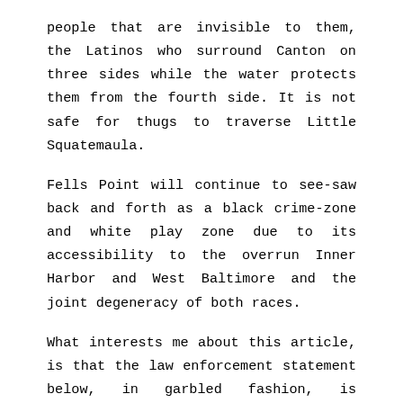people that are invisible to them, the Latinos who surround Canton on three sides while the water protects them from the fourth side. It is not safe for thugs to traverse Little Squatemaula.
Fells Point will continue to see-saw back and forth as a black crime-zone and white play zone due to its accessibility to the overrun Inner Harbor and West Baltimore and the joint degeneracy of both races.
What interests me about this article, is that the law enforcement statement below, in garbled fashion, is pointing the way for future law enforcement along medical lines. By 2040, Johns